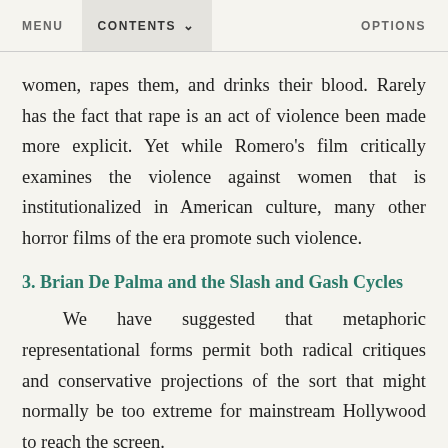MENU   CONTENTS ∨   OPTIONS
women, rapes them, and drinks their blood. Rarely has the fact that rape is an act of violence been made more explicit. Yet while Romero's film critically examines the violence against women that is institutionalized in American culture, many other horror films of the era promote such violence.
3. Brian De Palma and the Slash and Gash Cycles
We have suggested that metaphoric representational forms permit both radical critiques and conservative projections of the sort that might normally be too extreme for mainstream Hollywood to reach the screen.